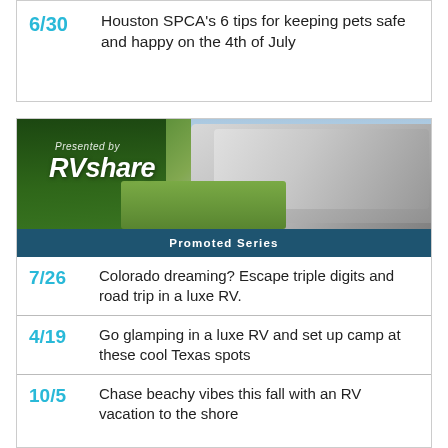6/30
Houston SPCA’s 6 tips for keeping pets safe and happy on the 4th of July
[Figure (photo): RVshare promotional banner image showing an aerial view of a luxury RV parked at a campsite with trees and people, with 'Presented by RVshare' text overlay and 'Promoted Series' bar at bottom]
7/26
Colorado dreaming? Escape triple digits and road trip in a luxe RV.
4/19
Go glamping in a luxe RV and set up camp at these cool Texas spots
10/5
Chase beachy vibes this fall with an RV vacation to the shore